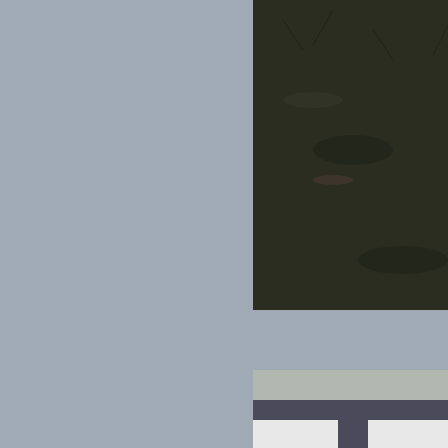[Figure (photo): Close-up photo of a tent or ground anchor stake lying in dark grass/ground cover. A yellow/gold colored stake is partially visible at the top of the frame.]
Anchor in use
[Figure (photo): Photo of an RV awning support pole with a blue folded chair or item attached/hanging from the awning roller tube assembly. A metal pole with a hook/clip mechanism holds the item. The RV and its tire are visible in the background along with grass and a green bucket on the ground.]